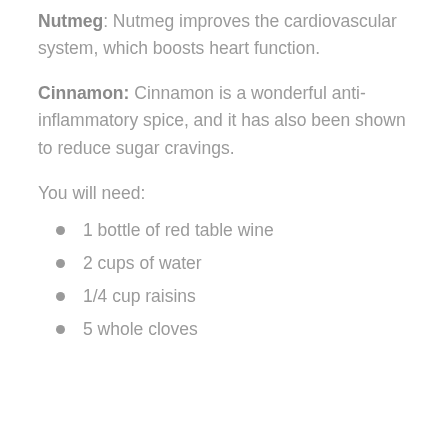Nutmeg: Nutmeg improves the cardiovascular system, which boosts heart function.
Cinnamon: Cinnamon is a wonderful anti-inflammatory spice, and it has also been shown to reduce sugar cravings.
You will need:
1 bottle of red table wine
2 cups of water
1/4 cup raisins
5 whole cloves